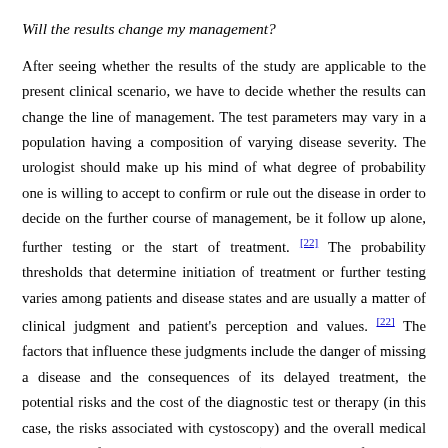Will the results change my management?
After seeing whether the results of the study are applicable to the present clinical scenario, we have to decide whether the results can change the line of management. The test parameters may vary in a population having a composition of varying disease severity. The urologist should make up his mind of what degree of probability one is willing to accept to confirm or rule out the disease in order to decide on the further course of management, be it follow up alone, further testing or the start of treatment. [22] The probability thresholds that determine initiation of treatment or further testing varies among patients and disease states and are usually a matter of clinical judgment and patient's perception and values. [22] The factors that influence these judgments include the danger of missing a disease and the consequences of its delayed treatment, the potential risks and the cost of the diagnostic test or therapy (in this case, the risks associated with cystoscopy) and the overall medical condition of an individual patient (the presence of a stable cardiovascular disease in the present clinical scenario). A useful new diagnostic test should, ideally, increase the probability of presence of disease in that patient beyond the threshold for initiating a treatment or eliminating the need for another diagnostic test (in this case, cystoscopy) or